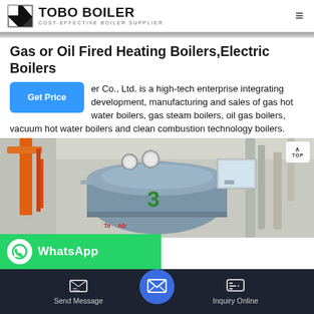TOBO BOILER — COST-EFFECTIVE BOILER SUPPLIER
[Figure (photo): Horizontal dark gray dividing image strip at top of content area]
Gas or Oil Fired Heating Boilers,Electric Boilers
er Co., Ltd. is a high-tech enterprise integrating development, manufacturing and sales of gas hot water boilers, gas steam boilers, oil gas boilers, vacuum hot water boilers and clean combustion technology boilers.
[Figure (photo): Industrial boiler room showing large cylindrical boiler with number 3 label, orange crane, pressure gauges, pipes and industrial equipment]
[Figure (screenshot): WhatsApp contact bar in green with WhatsApp icon and text label]
Send Message | Inquiry Online